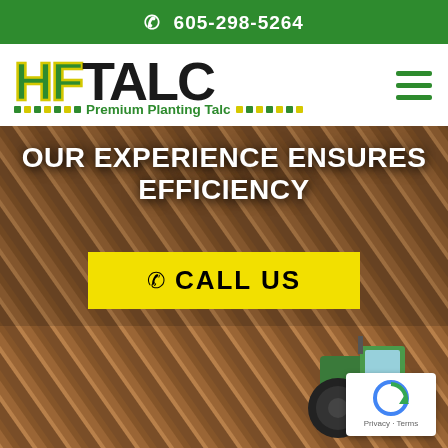☎ 605-298-5264
[Figure (logo): HFTALC logo with green HF and black TALC text, yellow outline accent, subtitle 'Premium Planting Talc' with green dash separators]
[Figure (photo): Aerial/diagonal view of plowed brown agricultural field with parallel furrows, green tractor visible in bottom right corner]
OUR EXPERIENCE ENSURES EFFICIENCY
✆ CALL US
[Figure (other): Google reCAPTCHA badge with blue circular arrow icon, Privacy and Terms links below]